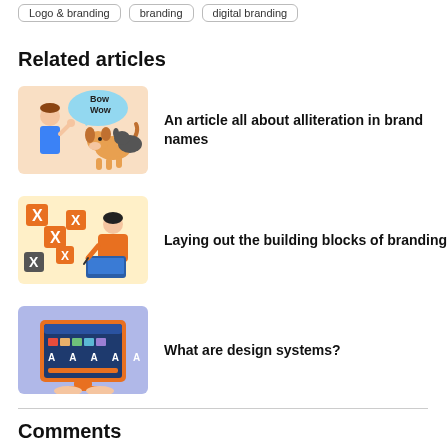Logo & branding
branding
digital branding
Related articles
[Figure (illustration): Illustration of a man and a dog with a speech bubble saying 'Bow Wow' on a peach background]
An article all about alliteration in brand names
[Figure (illustration): Illustration of a woman working on a laptop with orange X marks floating around on a peach/yellow background]
Laying out the building blocks of branding
[Figure (illustration): Illustration of a computer monitor showing a design system interface with color swatches and typography samples, on a blue/purple background]
What are design systems?
Comments